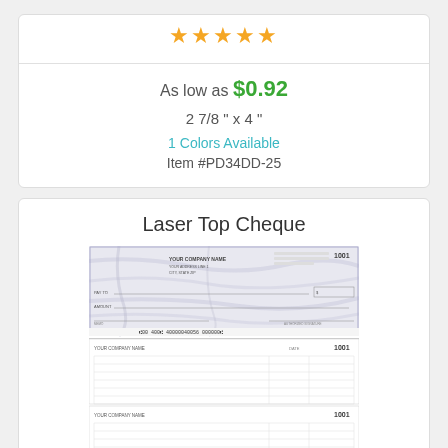[Figure (other): Five gold/orange star rating icons]
As low as $0.92
2 7/8 " x 4 "
1 Colors Available
Item #PD34DD-25
Laser Top Cheque
[Figure (photo): Image of a laser top cheque showing three stubs with company name, check number 1001, payee line, amount fields, and MICR line at the bottom of the top check section.]